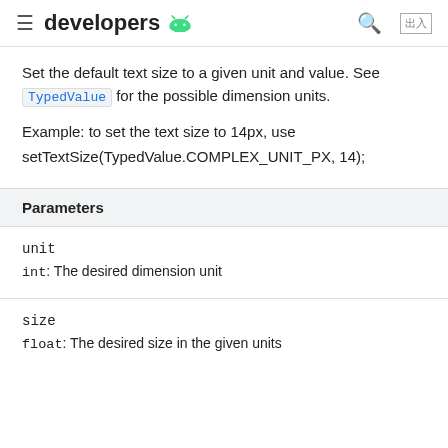developers
Set the default text size to a given unit and value. See TypedValue for the possible dimension units.
Example: to set the text size to 14px, use setTextSize(TypedValue.COMPLEX_UNIT_PX, 14);
| Parameters |
| --- |
| unit | int: The desired dimension unit |
| size | float: The desired size in the given units |